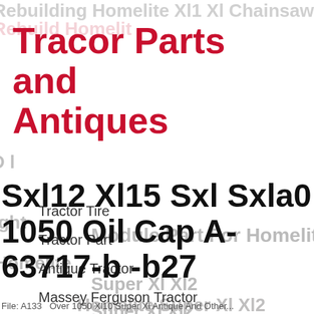Tracor Parts and Antiques
Tractor Tire
Tractor Part
Antique Tractor
Massey Ferguson Tractor
John Deere Tractor
Farm Tractor
Sxl12 Xl15 Sxl Sxla0 1050 Oil Cap A-63717-b -b27
File: A133   Over 1050 Xl10 Super Xl Antique And Other...